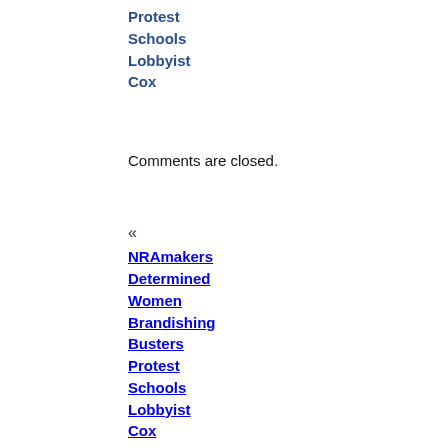Protest Schools Lobbyist Cox
Comments are closed.
«
NRA Lawmakers Determined Women Brandishing Busters Protest Schools Lobbyist Cox